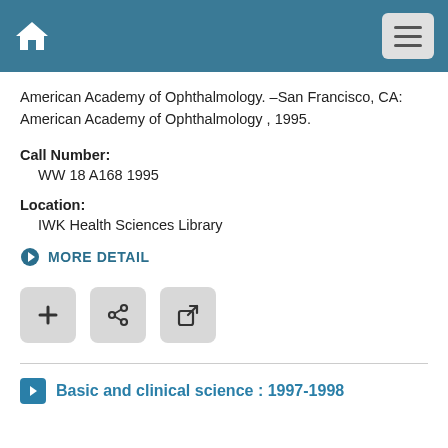American Academy of Ophthalmology. –San Francisco, CA: American Academy of Ophthalmology , 1995.
Call Number:
WW 18 A168 1995
Location:
IWK Health Sciences Library
MORE DETAIL
Basic and clinical science : 1997-1998